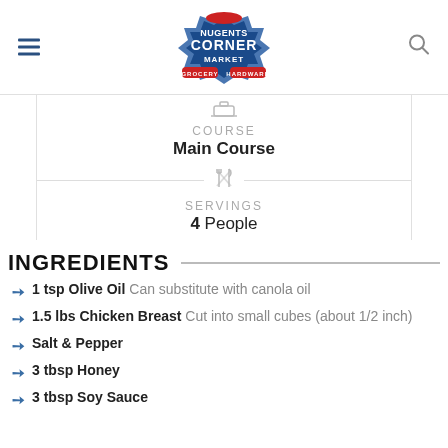[Figure (logo): Nugents Corner Market logo with Grocery and Hardware banners]
COURSE
Main Course
SERVINGS
4 People
INGREDIENTS
1 tsp Olive Oil Can substitute with canola oil
1.5 lbs Chicken Breast Cut into small cubes (about 1/2 inch)
Salt & Pepper
3 tbsp Honey
3 tbsp Soy Sauce